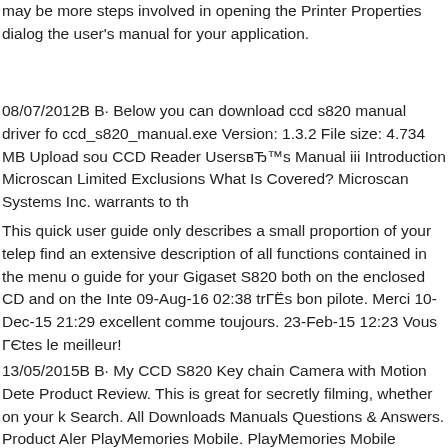may be more steps involved in opening the Printer Properties dialog the user's manual for your application.
08/07/2012В В· Below you can download ccd s820 manual driver fo ccd_s820_manual.exe Version: 1.3.2 File size: 4.734 MB Upload sou CCD Reader UsersвЂ™s Manual iii Introduction Microscan Limited Exclusions What Is Covered? Microscan Systems Inc. warrants to th
This quick user guide only describes a small proportion of your telep find an extensive description of all functions contained in the menu o guide for your Gigaset S820 both on the enclosed CD and on the Inte 09-Aug-16 02:38 trГЁs bon pilote. Merci 10-Dec-15 21:29 excellent comme toujours. 23-Feb-15 12:23 Vous ГЄtes le meilleur!
13/05/2015В В· My CCD S820 Key chain Camera with Motion Dete Product Review. This is great for secretly filming, whether on your k Search. All Downloads Manuals Questions & Answers. Product Aler PlayMemories Mobile. PlayMemories Mobile becomes Imaging Edg Transfer Video To Your Computer. Import Photos and Videos to a Wi PlayMemories Home. Purchase Parts and Accessories. Find replacer